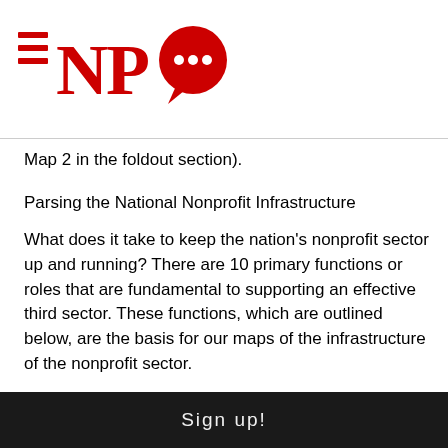[Figure (logo): NPQ (Nonprofit Quarterly) logo with red hamburger menu lines on the left, bold red serif NP text, and a red speech bubble with white dots forming the Q]
Map 2 in the foldout section).
Parsing the National Nonprofit Infrastructure
What does it take to keep the nation's nonprofit sector up and running? There are 10 primary functions or roles that are fundamental to supporting an effective third sector. These functions, which are outlined below, are the basis for our maps of the infrastructure of the nonprofit sector.
Accountability and self-regulation. Organizations serving this function promote accountability, transparency, and performance levels among nonprofits, often through the development of standards, codes of conduct, and benchmarking
Sign up!